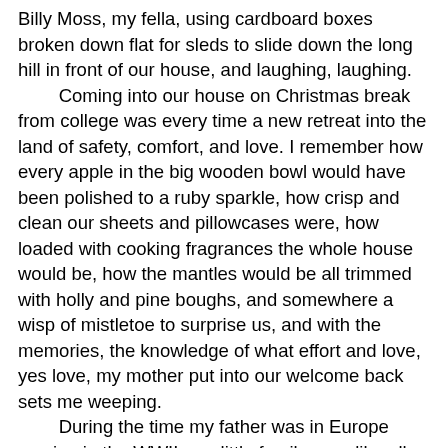Billy Moss, my fella, using cardboard boxes broken down flat for sleds to slide down the long hill in front of our house, and laughing, laughing.

Coming into our house on Christmas break from college was every time a new retreat into the land of safety, comfort, and love. I remember how every apple in the big wooden bowl would have been polished to a ruby sparkle, how crisp and clean our sheets and pillowcases were, how loaded with cooking fragrances the whole house would be, how the mantles would be all trimmed with holly and pine boughs, and somewhere a wisp of mistletoe to surprise us, and with the memories, the knowledge of what effort and love, yes love, my mother put into our welcome back sets me weeping.

During the time my father was in Europe serving in the WWII, our little family was, like all others, in dire straits. Rationing was very strict, and bountiful dinners were out of the question.

It took a great deal of managing for my mother to save enough sugar coupons to whip up a cake for our three birthdays during the course of a year, and Christmas? How she put together a fruitcake, a coconut cake, and an orange cake I will never know. I don't remember whether there was turkey or not. The cakes were the main thing on my mind.